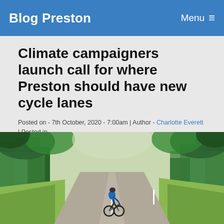Blog Preston   Menu ≡
Climate campaigners launch call for where Preston should have new cycle lanes
Posted on - 7th October, 2020 - 7:00am | Author - Charlotte Everett | Posted in -
Campaigns, People, Preston News, Uncategorized, Wildlife And Conservation
[Figure (photo): A cyclist riding away from the camera along a narrow country lane bordered by lush green trees and tall grass on a summer day.]